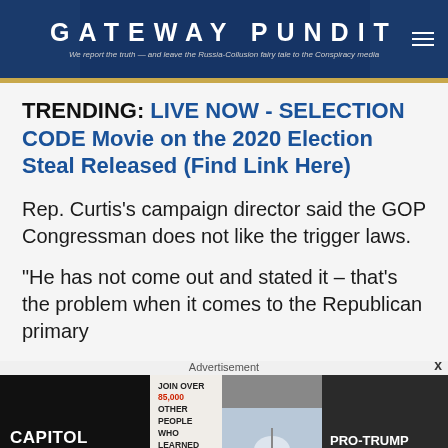GATEWAY PUNDIT — We report the truth — and leave the Russia-Collusion fairy tale to the Conspiracy media
TRENDING: LIVE NOW - SELECTION CODE Movie on the 2020 Election Steal Released (Find Link Here)
Rep. Curtis's campaign director said the GOP Congressman does not like the trigger laws.
“He has not come out and stated it – that’s the problem when it comes to the Republican primary
[Figure (screenshot): Advertisement banner for 'Capitol Punishment' documentary. Left section has black background with white bold text 'CAPITOL PUNISHMENT'. Middle section has text 'JOIN OVER 85,000 OTHER PEOPLE WHO LEARNED THE TRUTH ABOUT THE JANUARY 6TH CAPITOL' with red 'WATCH NOW' button. Center shows image of US Capitol building. Right section shows dark image with crowd and text 'PRO-TRUMP MOBS STORM US CAPITOL' with 'POLICE' label. Bottom red strip reads 'JANUARY 6 WAS YEARS IN THE MAKING AND THE THREAT TO THE SURVIVAL OF AMERICA AS WE KNOW IT HAS NEVER BEEN GREATER.']